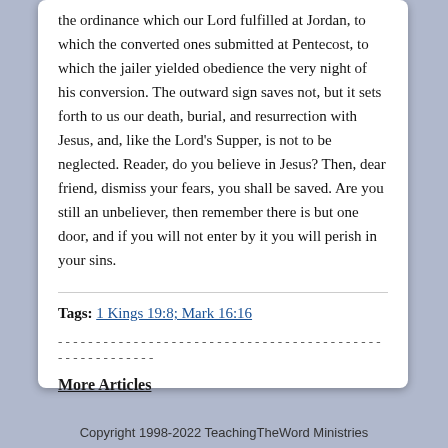the ordinance which our Lord fulfilled at Jordan, to which the converted ones submitted at Pentecost, to which the jailer yielded obedience the very night of his conversion. The outward sign saves not, but it sets forth to us our death, burial, and resurrection with Jesus, and, like the Lord's Supper, is not to be neglected. Reader, do you believe in Jesus? Then, dear friend, dismiss your fears, you shall be saved. Are you still an unbeliever, then remember there is but one door, and if you will not enter by it you will perish in your sins.
Tags: 1 Kings 19:8; Mark 16:16
More Articles
Copyright 1998-2022 TeachingTheWord Ministries